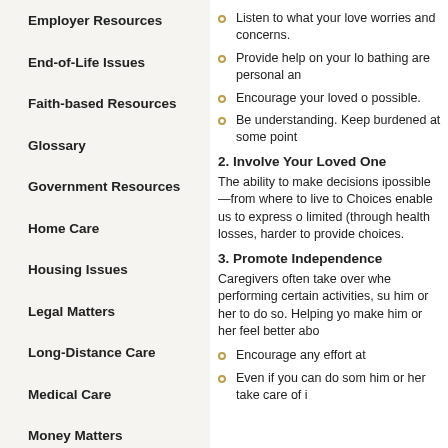Employer Resources
End-of-Life Issues
Faith-based Resources
Glossary
Government Resources
Home Care
Housing Issues
Legal Matters
Long-Distance Care
Medical Care
Money Matters
Other Research
Listen to what your loved one has to say about worries and concerns.
Provide help on your loved one's terms. Bathing are personal and...
Encourage your loved one to do as much as possible.
Be understanding. Keep in mind that feeling burdened at some point...
2. Involve Your Loved One
The ability to make decisions is important—if possible—from where to live to... Choices enable us to express ourselves. When limited (through health losses,...) it becomes harder to provide choices.
3. Promote Independence
Caregivers often take over when a loved one is performing certain activities, such as... him or her to do so. Helping your... make him or her feel better about...
Encourage any effort at...
Even if you can do some... him or her take care of it...